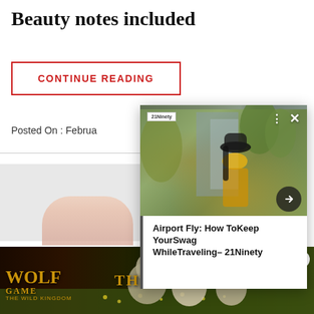Beauty notes included
CONTINUE READING
Posted On : Februa
[Figure (screenshot): Popup overlay card showing a woman in a yellow top and black hat outdoors, with the title 'Airport Fly: How ToKeep YourSwag WhileTraveling- 21Ninety' and a 21Ninety logo, navigation arrow, close button, and three-dot menu.]
[Figure (photo): Advertisement banner for Wolf Game: The Wild Kingdom, showing wolves in a field with yellow flowers and the text 'THE HUNT IS ON!']